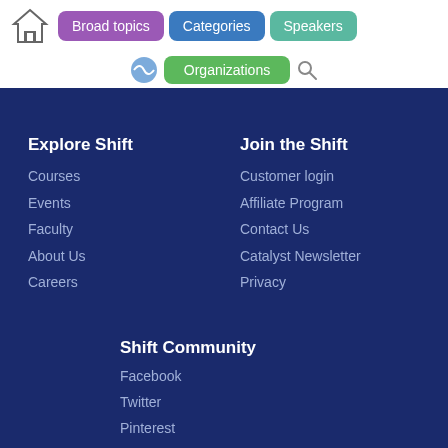[Figure (screenshot): Navigation bar with home icon, Broad topics (purple), Categories (blue), Speakers (teal) buttons, and Organizations (green) button with search icon below]
Explore Shift
Courses
Events
Faculty
About Us
Careers
Join the Shift
Customer login
Affiliate Program
Contact Us
Catalyst Newsletter
Privacy
Shift Community
Facebook
Twitter
Pinterest
YouTube
Shift Blog
LinkedIn